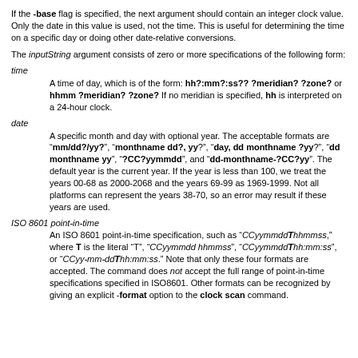If the -base flag is specified, the next argument should contain an integer clock value. Only the date in this value is used, not the time. This is useful for determining the time on a specific day or doing other date-relative conversions.
The inputString argument consists of zero or more specifications of the following form:
time
  A time of day, which is of the form: hh?:mm?:ss?? ?meridian? ?zone? or hhmm ?meridian? ?zone? If no meridian is specified, hh is interpreted on a 24-hour clock.
date
  A specific month and day with optional year. The acceptable formats are "mm/dd?/yy?", "monthname dd?, yy?", "day, dd monthname ?yy?", "dd monthname yy", "?CC?yymmdd", and "dd-monthname-?CC?yy". The default year is the current year. If the year is less than 100, we treat the years 00-68 as 2000-2068 and the years 69-99 as 1969-1999. Not all platforms can represent the years 38-70, so an error may result if these years are used.
ISO 8601 point-in-time
  An ISO 8601 point-in-time specification, such as "CCyymmddThhmms," where T is the literal "T", "CCyymmdd hhmmss", "CCyymmddThh:mm:ss", or "CCyy-mm-ddThh:mm:ss." Note that only these four formats are accepted. The command does not accept the full range of point-in-time specifications specified in ISO8601. Other formats can be recognized by giving an explicit -format option to the clock scan command.